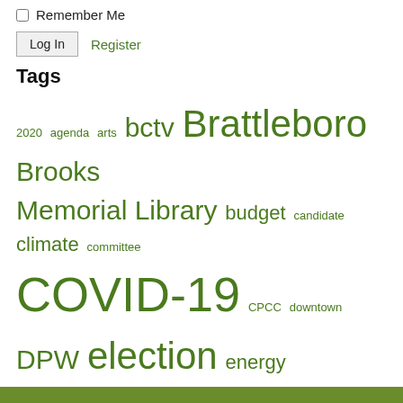Remember Me
Log In   Register
Tags
2020 agenda arts bctv Brattleboro Brooks Memorial Library budget candidate climate committee COVID-19 CPCC downtown DPW election energy Finance fire FY20 FY21 FY22 FY23 Gibson-Aiken Human Services jazz Main Street music Next Stage parking paving police Putney RTM sbmn schedule Selectboard skatepark taxes Traffic Safety tree Trump vermont Vermont AFL-CIO VFW WSESD